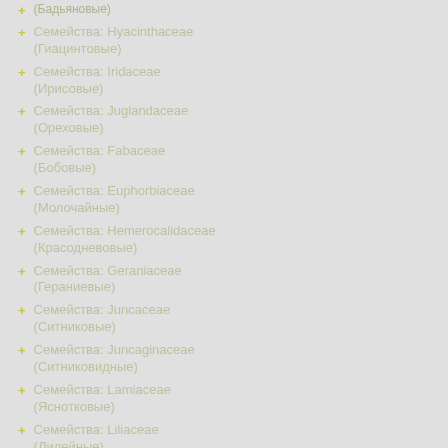Семейства: Hyacinthaceae (Гиацинтовые)
Семейства: Iridaceae (Ирисовые)
Семейства: Juglandaceae (Ореховые)
Семейства: Fabaceae (Бобовые)
Семейства: Euphorbiaceae (Молочайные)
Семейства: Hemerocalidaceae (Красодневовые)
Семейства: Geraniaceae (Гераниевые)
Семейства: Juncaceae (Ситниковые)
Семейства: Juncaginaceae (Ситниковидные)
Семейства: Lamiaceae (Яснотковые)
Семейства: Liliaceae (Лилейные)